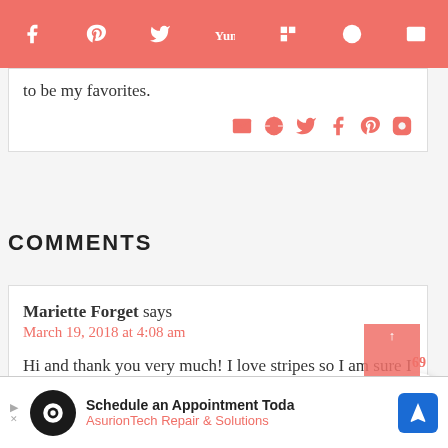Social share bar with icons: facebook, pinterest, twitter, yummly, flipboard, reddit, email
to be my favorites.
COMMENTS
Mariette Forget says
March 19, 2018 at 4:08 am

Hi and thank you very much! I love stripes so I am sure I will make similar napkins. Have a great day!